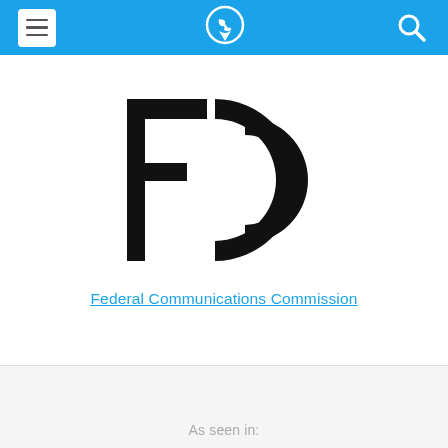[Figure (screenshot): Mobile app top navigation bar with blue background, hamburger menu icon on left, phone/location pin icon in center, and search magnifying glass icon on right]
[Figure (logo): FCC (Federal Communications Commission) logo — black letters F, C, C with circular arc on the C]
Federal Communications Commission
As seen in: